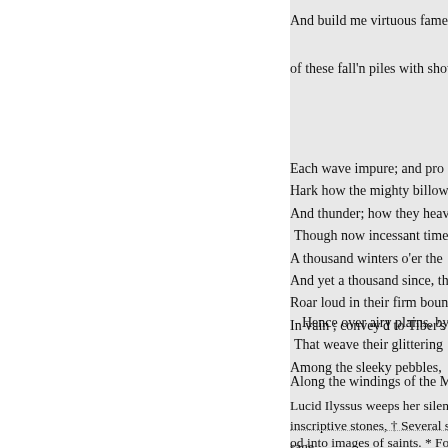And build me virtuous fame ;
of these fall'n piles with show of
Each wave impure; and pro
Hark how the mighty billow
And thunder; how they heav
Though now incessant time
A thousand winters o'er the
And yet a thousand since, th
Roar loud in their firm boun
In vain ; convey'd to Tiber's
Hence over airy plains, by
That weave their glittering
Among the sleeky pebbles,
Along the windings of the Mu
Lucid Ilyssus weeps her silent
inscriptive stones, † Several statu
sage.
od into images of saints. * Four